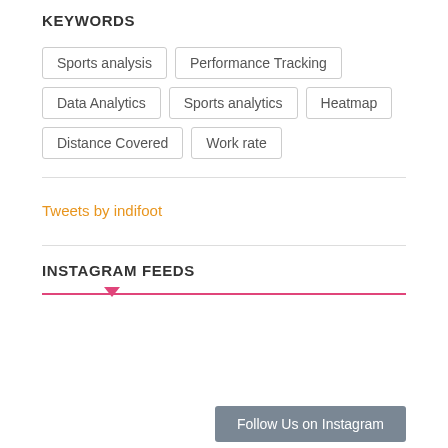KEYWORDS
Sports analysis
Performance Tracking
Data Analytics
Sports analytics
Heatmap
Distance Covered
Work rate
Tweets by indifoot
INSTAGRAM FEEDS
Follow Us on Instagram